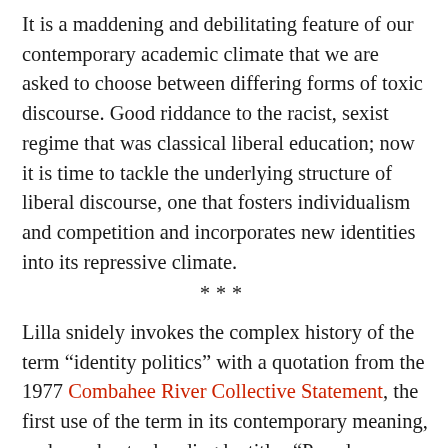It is a maddening and debilitating feature of our contemporary academic climate that we are asked to choose between differing forms of toxic discourse. Good riddance to the racist, sexist regime that was classical liberal education; now it is time to tackle the underlying structure of liberal discourse, one that fosters individualism and competition and incorporates new identities into its repressive climate.
***
Lilla snidely invokes the complex history of the term “identity politics” with a quotation from the 1977 Combahee River Collective Statement, the first use of the term in its contemporary meaning, under a chapter heading he titles “Pseudo-Politics.” Whether “identity politics” is